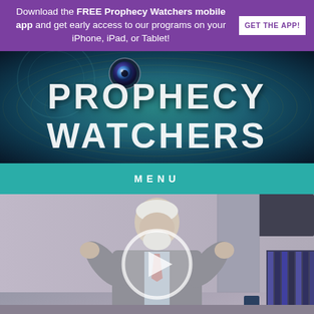Download the FREE Prophecy Watchers mobile app and get early access to our programs on your iPhone, iPad, or Tablet! GET THE APP!
[Figure (logo): Prophecy Watchers logo with camera lens icon on teal/dark background with text PROPHECY WATCHERS in large white bold letters]
MENU
[Figure (photo): Video thumbnail showing an older man with white beard in a grey suit with arms raised, with a play button overlay circle in the center]